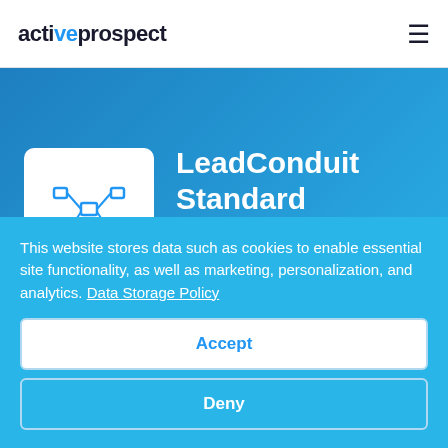activeprospect
LeadConduit Standard Integration
Outbound
PRICING
Standard Transactional Pricing
This website stores data such as cookies to enable essential site functionality, as well as marketing, personalization, and analytics. Data Storage Policy
Accept
Deny